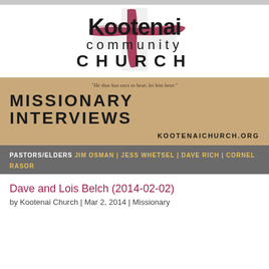[Figure (logo): Kootenai Community Church logo with brushstroke cross in dark red/maroon, with bold text 'Kootenai' in large font, 'community' in spaced smaller text, and 'CHURCH' in wide-spaced bold caps]
"He that has ears to hear, let him hear."
MISSIONARY INTERVIEWS
KOOTENAICHURCH.ORG
PASTORS/ELDERS JIM OSMAN | JESS WHETSEL | DAVE RICH | CORNEL RASOR
Dave and Lois Belch (2014-02-02)
by Kootenai Church | Mar 2, 2014 | Missionary Interviews